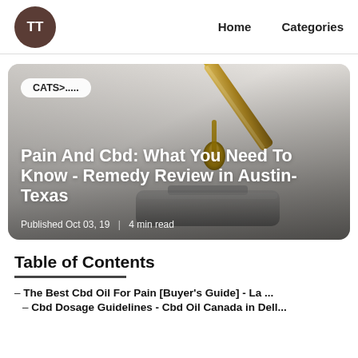TT  Home  Categories
[Figure (photo): Hero card with CBD oil dropper photo background. A dropper with golden oil drop falling, on gray gradient background. Badge reads 'CATS>.....' in top left. Title overlay: 'Pain And Cbd: What You Need To Know - Remedy Review in Austin-Texas'. Meta: 'Published Oct 03, 19 | 4 min read']
Table of Contents
– The Best Cbd Oil For Pain [Buyer's Guide] - La ...
– Cbd Dosage Guidelines - Cbd Oil Canada in Dell...